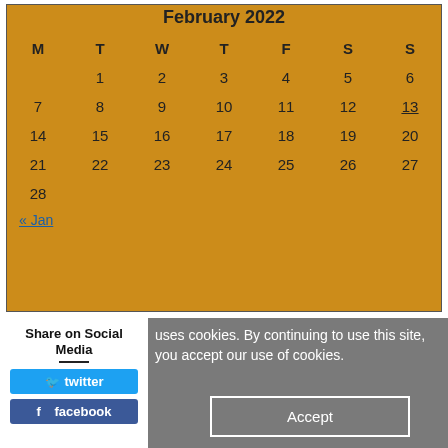| M | T | W | T | F | S | S |
| --- | --- | --- | --- | --- | --- | --- |
|  | 1 | 2 | 3 | 4 | 5 | 6 |
| 7 | 8 | 9 | 10 | 11 | 12 | 13 |
| 14 | 15 | 16 | 17 | 18 | 19 | 20 |
| 21 | 22 | 23 | 24 | 25 | 26 | 27 |
| 28 |  |  |  |  |  |  |
« Jan
Share on Social Media
uses cookies. By continuing to use this site, you accept our use of cookies.
Accept